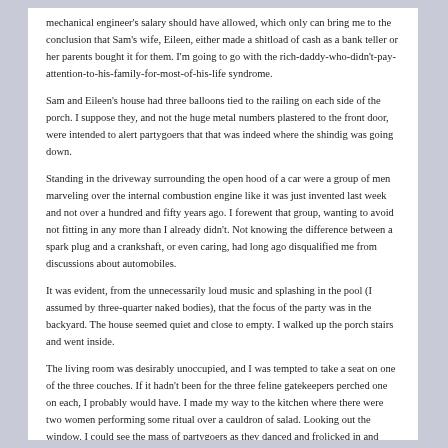mechanical engineer's salary should have allowed, which only can bring me to the conclusion that Sam's wife, Eileen, either made a shitload of cash as a bank teller or her parents bought it for them. I'm going to go with the rich-daddy-who-didn't-pay-attention-to-his-family-for-most-of-his-life syndrome.
Sam and Eileen's house had three balloons tied to the railing on each side of the porch. I suppose they, and not the huge metal numbers plastered to the front door, were intended to alert partygoers that that was indeed where the shindig was going down.
Standing in the driveway surrounding the open hood of a car were a group of men marveling over the internal combustion engine like it was just invented last week and not over a hundred and fifty years ago. I forewent that group, wanting to avoid not fitting in any more than I already didn't. Not knowing the difference between a spark plug and a crankshaft, or even caring, had long ago disqualified me from discussions about automobiles.
It was evident, from the unnecessarily loud music and splashing in the pool (I assumed by three-quarter naked bodies), that the focus of the party was in the backyard. The house seemed quiet and close to empty. I walked up the porch stairs and went inside.
The living room was desirably unoccupied, and I was tempted to take a seat on one of the three couches. If it hadn't been for the three feline gatekeepers perched one on each, I probably would have. I made my way to the kitchen where there were two women performing some ritual over a cauldron of salad. Looking out the window, I could see the mass of partygoers as they danced and frolicked in and around the pool. The sun was setting, and the TIKI torches were aflame.
I placed the bottle of wine I brought on the counter. It didn't look like a wine-